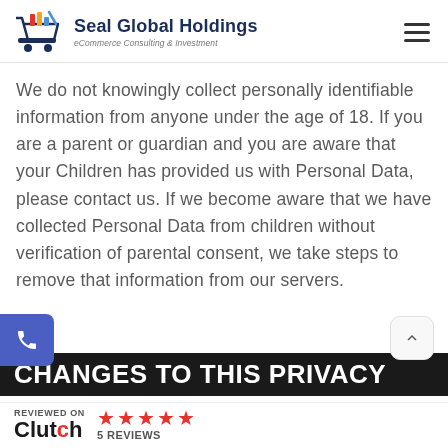Seal Global Holdings — eCommerce Consulting & Investment
We do not knowingly collect personally identifiable information from anyone under the age of 18. If you are a parent or guardian and you are aware that your Children has provided us with Personal Data, please contact us. If we become aware that we have collected Personal Data from children without verification of parental consent, we take steps to remove that information from our servers.
CHANGES TO THIS PRIVACY
[Figure (logo): Clutch review badge: REVIEWED ON Clutch, 5 red stars, 5 REVIEWS]